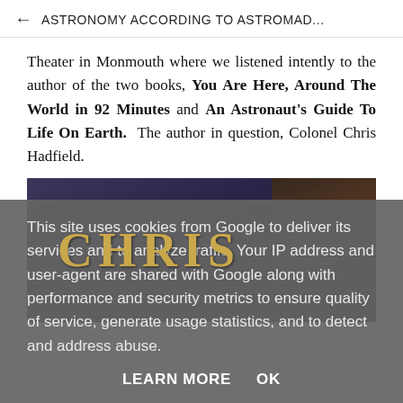ASTRONOMY ACCORDING TO ASTROMAD...
Theater in Monmouth where we listened intently to the author of the two books, You Are Here, Around The World in 92 Minutes and An Astronaut's Guide To Life On Earth. The author in question, Colonel Chris Hadfield.
[Figure (photo): A close-up photograph of a dark blue/purple book spine with gold letters spelling CHRIS, likely the book by Colonel Chris Hadfield.]
This site uses cookies from Google to deliver its services and to analyze traffic. Your IP address and user-agent are shared with Google along with performance and security metrics to ensure quality of service, generate usage statistics, and to detect and address abuse.
LEARN MORE   OK